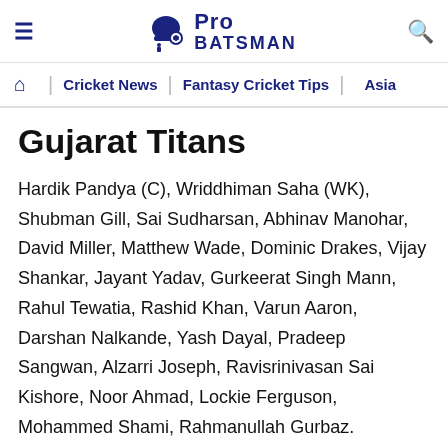Pro Batsman — Cricket News | Fantasy Cricket Tips | Asia
Gujarat Titans
Hardik Pandya (C), Wriddhiman Saha (WK), Shubman Gill, Sai Sudharsan, Abhinav Manohar, David Miller, Matthew Wade, Dominic Drakes, Vijay Shankar, Jayant Yadav, Gurkeerat Singh Mann, Rahul Tewatia, Rashid Khan, Varun Aaron, Darshan Nalkande, Yash Dayal, Pradeep Sangwan, Alzarri Joseph, Ravisrinivasan Sai Kishore, Noor Ahmad, Lockie Ferguson, Mohammed Shami, Rahmanullah Gurbaz.
Also Read: RVS vs KCH Dream11 Prediction